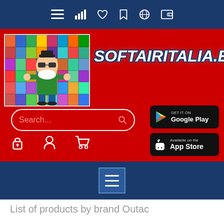[Figure (screenshot): Mobile app top navigation bar with icons: menu, signal bars, heart, bookmark, globe, and dollar/currency icon on dark blue background]
[Figure (screenshot): Red banner with SOFTAIRITALIA.EU website logo showing cartoon character with sunglasses on flags background, search bar, Google Play and App Store buttons, lock/user/cart icons]
[Figure (screenshot): Dark blue hamburger menu bar]
List of products by brand Outac
[Figure (screenshot): Product list controls: compare (0) button, Select dropdown, grid and list view icons, and back-to-top arrow]